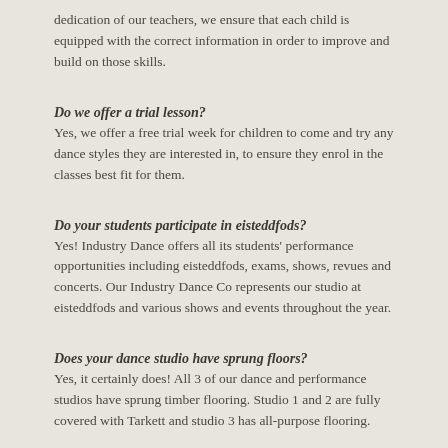dedication of our teachers, we ensure that each child is equipped with the correct information in order to improve and build on those skills.
Do we offer a trial lesson?
Yes, we offer a free trial week for children to come and try any dance styles they are interested in, to ensure they enrol in the classes best fit for them.
Do your students participate in eisteddfods?
Yes! Industry Dance offers all its students' performance opportunities including eisteddfods, exams, shows, revues and concerts. Our Industry Dance Co represents our studio at eisteddfods and various shows and events throughout the year.
Does your dance studio have sprung floors?
Yes, it certainly does! All 3 of our dance and performance studios have sprung timber flooring. Studio 1 and 2 are fully covered with Tarkett and studio 3 has all-purpose flooring.
Is the Industry Dance timetable on NSW time?
Yes! We operate on NSW time and follow NSW school terms. Check out our timetable here.